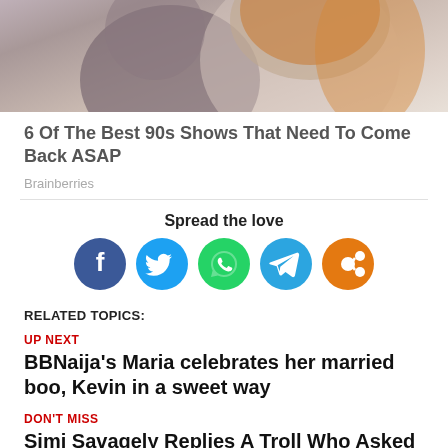[Figure (photo): Two people in casual clothing, one with long orange/red hair, photograph partially cropped at top]
6 Of The Best 90s Shows That Need To Come Back ASAP
Brainberries
Spread the love
[Figure (infographic): Row of five social media share buttons: Facebook (dark blue), Twitter (light blue), WhatsApp (green), Telegram (blue), Share (orange)]
RELATED TOPICS:
UP NEXT
BBNaija's Maria celebrates her married boo, Kevin in a sweet way
DON'T MISS
Simi Savagely Replies A Troll Who Asked Whether Mosquitoes Enter Rich People's House Too